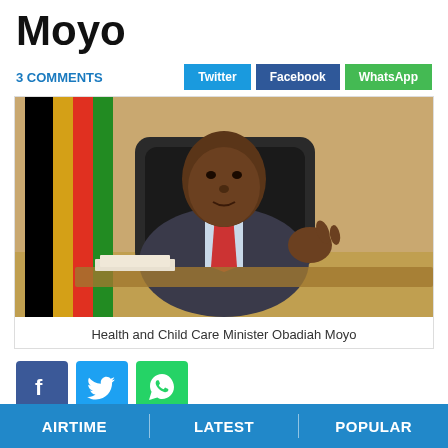Moyo
3 COMMENTS
[Figure (photo): Health and Child Care Minister Obadiah Moyo seated at a desk in a dark suit and red tie, gesturing with his right hand. A Zimbabwe flag is visible in the background against a wooden wall.]
Health and Child Care Minister Obadiah Moyo
AIRTIME | LATEST | POPULAR